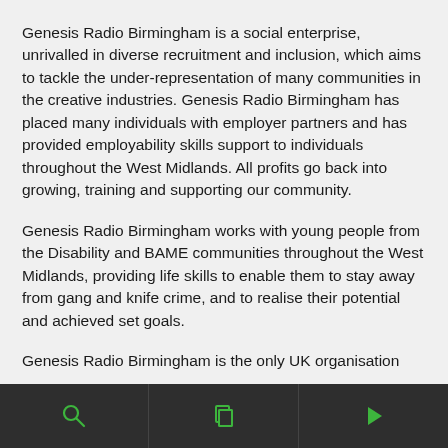Genesis Radio Birmingham is a social enterprise, unrivalled in diverse recruitment and inclusion, which aims to tackle the under-representation of many communities in the creative industries. Genesis Radio Birmingham has placed many individuals with employer partners and has provided employability skills support to individuals throughout the West Midlands. All profits go back into growing, training and supporting our community.
Genesis Radio Birmingham works with young people from the Disability and BAME communities throughout the West Midlands, providing life skills to enable them to stay away from gang and knife crime, and to realise their potential and achieved set goals.
Genesis Radio Birmingham is the only UK organisation
navigation bar with search, page, and play icons